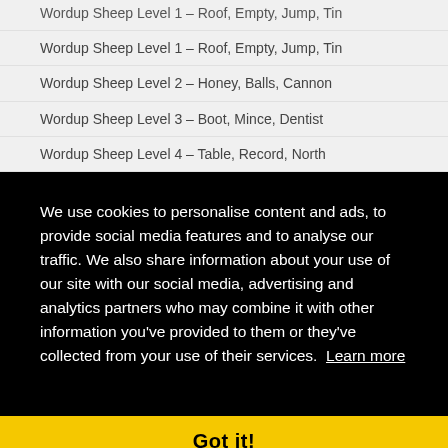Wordup Sheep Level 1 – Roof, Empty, Jump, Tin
Wordup Sheep Level 2 – Honey, Balls, Cannon
Wordup Sheep Level 3 – Boot, Mince, Dentist
Wordup Sheep Level 4 – Table, Record, North
We use cookies to personalise content and ads, to provide social media features and to analyse our traffic. We also share information about your use of our site with our social media, advertising and analytics partners who may combine it with other information you've provided to them or they've collected from your use of their services.  Learn more
Got it!
Wordup Penguin Level 6 – Saw, Hen, Crow, Finger